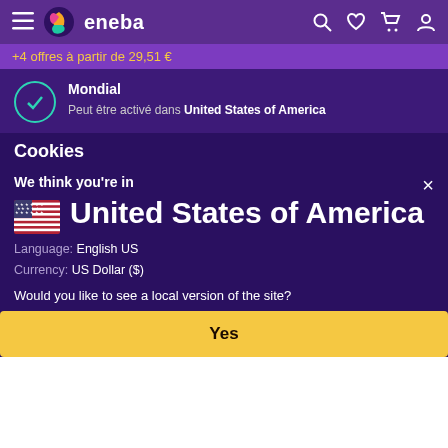eneba navigation bar with hamburger menu, logo, search, wishlist, cart, and account icons
+4 offres à partir de 29,51 €
Mondial
Peut être activé dans United States of America
Cookies
We think you're in
United States of America
Language: English US
Currency: US Dollar ($)
Would you like to see a local version of the site?
Yes